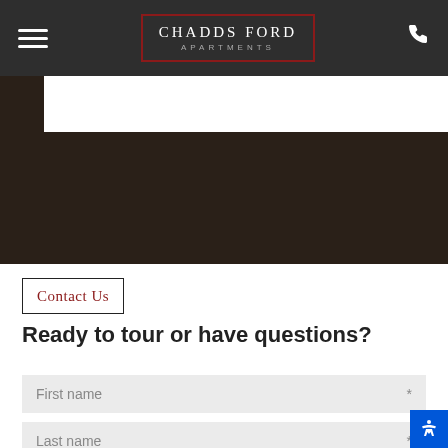CHADDS FORD APARTMENTS
[Figure (screenshot): Dark hero image area with brownish-dark background]
Contact Us
Ready to tour or have questions?
First name *
Last name *